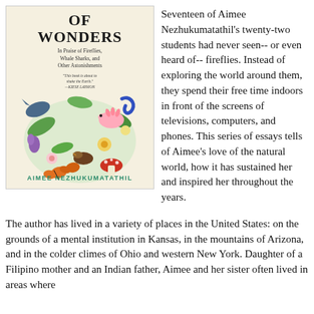[Figure (illustration): Book cover of 'World of Wonders: In Praise of Fireflies, Whale Sharks, and Other Astonishments' by Aimee Nezhukumatathil, featuring colorful illustrations of various animals and plants including butterflies, birds, an axolotl, and flowers on a cream background.]
Seventeen of Aimee Nezhukumatathil's twenty-two students had never seen-- or even heard of-- fireflies. Instead of exploring the world around them, they spend their free time indoors in front of the screens of televisions, computers, and phones. This series of essays tells of Aimee's love of the natural world, how it has sustained her and inspired her throughout the years.
The author has lived in a variety of places in the United States: on the grounds of a mental institution in Kansas, in the mountains of Arizona, and in the colder climes of Ohio and western New York. Daughter of a Filipino mother and an Indian father, Aimee and her sister often lived in areas where